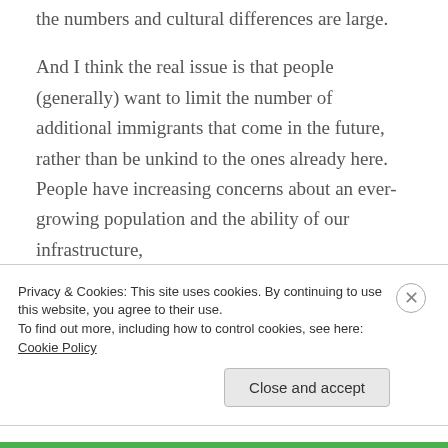the numbers and cultural differences are large.

And I think the real issue is that people (generally) want to limit the number of additional immigrants that come in the future, rather than be unkind to the ones already here. People have increasing concerns about an ever-growing population and the ability of our infrastructure,
Privacy & Cookies: This site uses cookies. By continuing to use this website, you agree to their use.
To find out more, including how to control cookies, see here: Cookie Policy
Close and accept